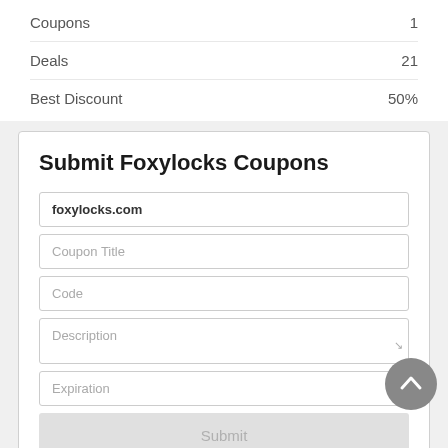|  |  |
| --- | --- |
| Coupons | 1 |
| Deals | 21 |
| Best Discount | 50% |
Submit Foxylocks Coupons
foxylocks.com
Coupon Title
Code
Description
Expiration
Submit